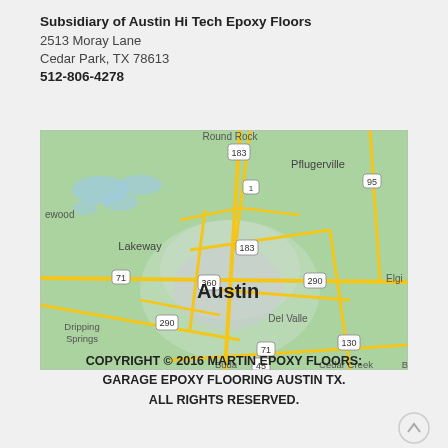Subsidiary of Austin Hi Tech Epoxy Floors
2513 Moray Lane
Cedar Park, TX 78613
512-806-4278
[Figure (map): Google Maps view centered on Austin, TX showing surrounding areas including Round Rock, Pflugerville, Lakeway, Dripping Springs, Del Valle, Cedar Creek, and major highways 183, 290, 360, 130, 71, 95, 45, 1.]
COPYRIGHT © 2016 MARTIN EPOXY FLOORS: GARAGE EPOXY FLOORING AUSTIN TX. ALL RIGHTS RESERVED.